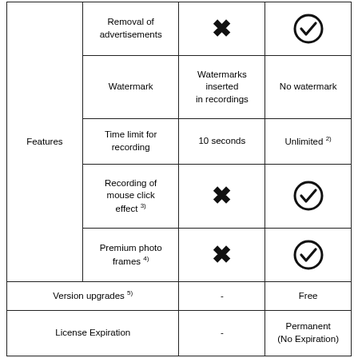|  |  | Free | Paid |
| --- | --- | --- | --- |
| Features | Removal of advertisements | ✗ | ✓ |
| Features | Watermark | Watermarks inserted in recordings | No watermark |
| Features | Time limit for recording | 10 seconds | Unlimited 2) |
| Features | Recording of mouse click effect 3) | ✗ | ✓ |
| Features | Premium photo frames 4) | ✗ | ✓ |
| Version upgrades 5) |  | - | Free |
| License Expiration |  | - | Permanent (No Expiration) |